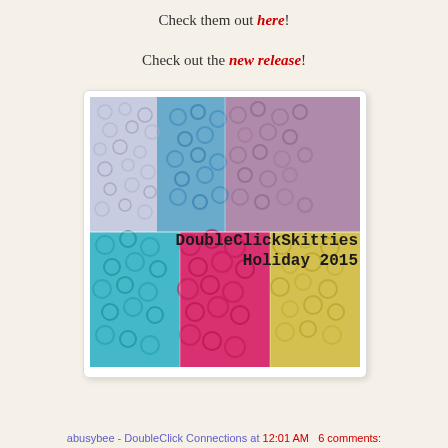Check them out here!
Check out the new release!
[Figure (photo): A grid of colorful small beads/skittles in six sections: clear/lavender (top-left), blue (top-center), pink/mauve (top-right), teal (bottom-left), hot pink (bottom-center), yellow (bottom-right). Text overlay reads 'DoubleClickSkitties Holiday 2015']
abusybee - DoubleClick Connections at 12:01 AM   6 comments: